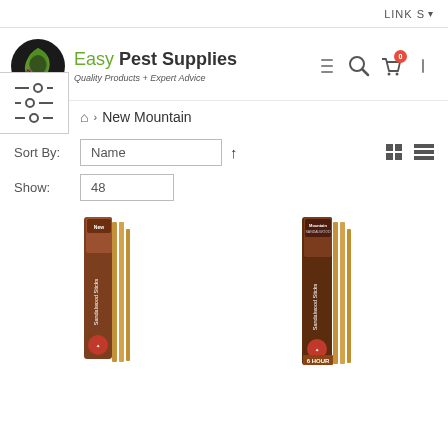LINKS ▼
[Figure (logo): Easy Pest Supplies logo with circular black/green emblem and brand text]
Sort By: Name ↑   Show: 48
⌂ > New Mountain
[Figure (photo): Two product images of New Mountain Sandalwood Sticks packages partially visible at bottom]